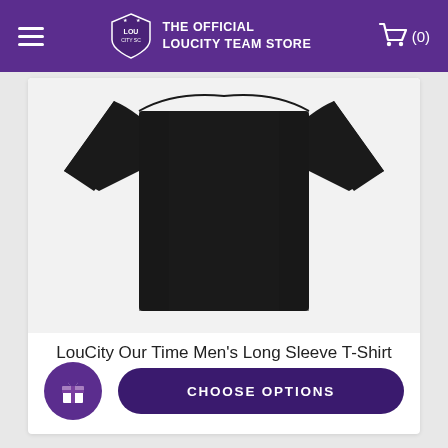THE OFFICIAL LOUCITY TEAM STORE
[Figure (photo): Black long-sleeve t-shirt displayed on a white background, showing front torso and both arms extended outward]
LouCity Our Time Men's Long Sleeve T-Shirt
$39.95
CHOOSE OPTIONS